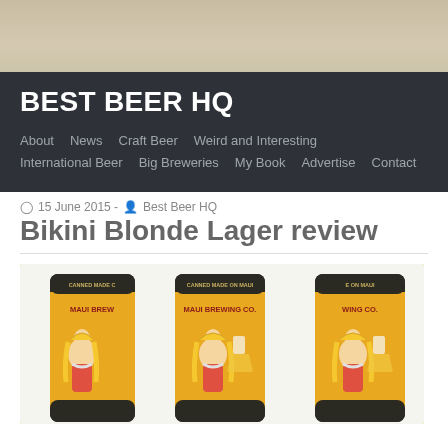[Figure (photo): Tan/beige background header bar]
BEST BEER HQ
About  News  Craft Beer  Weird and Interesting  International Beer  Big Breweries  My Book  Advertise  Contact
15 June 2015 - Best Beer HQ
Bikini Blonde Lager review
[Figure (photo): Three cans of Maui Brewing Co. Bikini Blonde Lager arranged side by side, showing the label with a blonde woman in a bikini holding a beer glass]